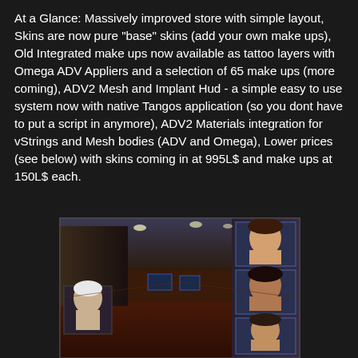At a Glance: Massively improved store with simple layout, Skins are now pure "base" skins (add your own make ups), Old Integrated make ups now available as tattoo layers with Omega ADV Appliers and a selection of 65 make ups (more coming), ADV2 Mesh and Implant Hud - a simple easy to use system now with native Tangos application (so you dont have to put a script in anymore), ADV2 Materials integration for vStrings and Mesh bodies (ADV and Omega), Lower prices (see below) with skins coming in at 995L$ and make ups at 150L$ each.
[Figure (screenshot): Interior screenshot of a virtual store showing display panels with avatar faces/skins on the walls, dark reddish-brown floor, and ceiling lights.]